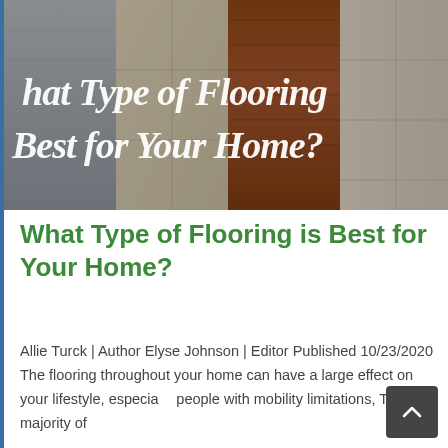[Figure (photo): Hero image showing multiple flooring types side by side — gray wood-look plank, beige stone-look tile, warm brown hardwood, and light travertine tile. White cursive script overlaid reads 'What Type of Flooring is Best for Your Home?']
What Type of Flooring is Best for Your Home?
Allie Turck | Author Elyse Johnson | Editor Published 10/23/2020 The flooring throughout your home can have a large effect on your lifestyle, especially people with mobility limitations, The majority of